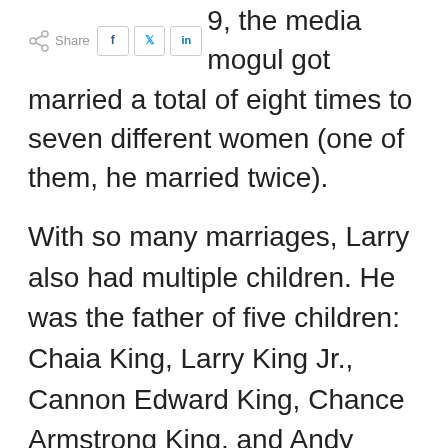9, the media mogul got married a total of eight times to seven different women (one of them, he married twice).
With so many marriages, Larry also had multiple children. He was the father of five children: Chaia King, Larry King Jr., Cannon Edward King, Chance Armstrong King, and Andy King. Larry also had nine grandchildren and four great-grandchildren. With so much money, so many spouses, and so many children, it was practically guaranteed there would be some conflict over Larry's estate following his death.
However, three factors are sure to make settling